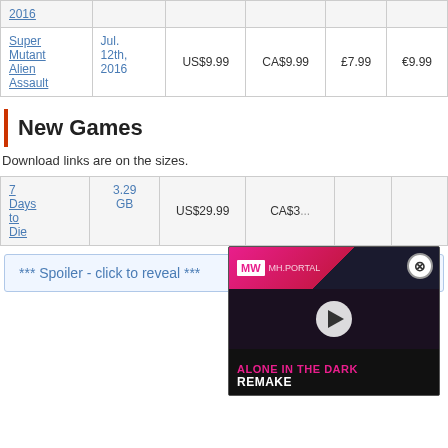| Game | Release | US$ | CA$ | £ | € |
| --- | --- | --- | --- | --- | --- |
| 2016 |  |  |  |  |  |
| Super Mutant Alien Assault | Jul. 12th, 2016 | US$9.99 | CA$9.99 | £7.99 | €9.99 |
New Games
Download links are on the sizes.
| Game | Size | US$ | CA$ | £ | € |
| --- | --- | --- | --- | --- | --- |
| 7 Days to Die | 3.29 GB | US$29.99 | CA$3... |  |  |
[Figure (screenshot): Video overlay showing 'Alone in the Dark Remake' with MW logo, play button, pink and dark background]
*** Spoiler - click to reveal ***